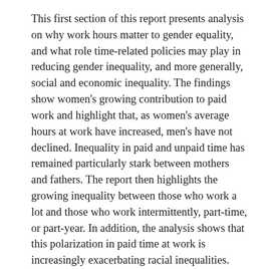This first section of this report presents analysis on why work hours matter to gender equality, and what role time-related policies may play in reducing gender inequality, and more generally, social and economic inequality. The findings show women's growing contribution to paid work and highlight that, as women's average hours at work have increased, men's have not declined. Inequality in paid and unpaid time has remained particularly stark between mothers and fathers. The report then highlights the growing inequality between those who work a lot and those who work intermittently, part-time, or part-year. In addition, the analysis shows that this polarization in paid time at work is increasingly exacerbating racial inequalities.
The second section of the report focuses on changes in the quality of time at work and workforce policies around scheduling, location, and paid time off. The